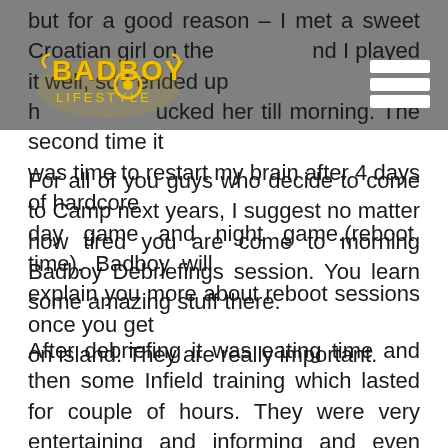[Figure (logo): Badboy Lifestyle logo in yellow/gold on gray background with hamburger menu icon]
but for a good reason – I met a sweet Croatian girl on the... and I played it well, so I ended up in her ho... fucked her till morning. The second time it was time to restart my brain after 4 days of hardcore day game and night game.(reboot time). Badboy will explain you more about reboot sessions once you get on island. They are really important.
For all of you guys who decide to come to Camp next years, I suggest no matter how tired you are come to morning Badboy Debriefings session. You learn some amazing stuff there.
After debriefing it was eating time and then some Infield training which lasted for couple of hours. They were very entertaining and informing and even though I slept for 5 hours max. I wasn't feeling tired while attending them. We were split into groups according to our success we had. Totally there were